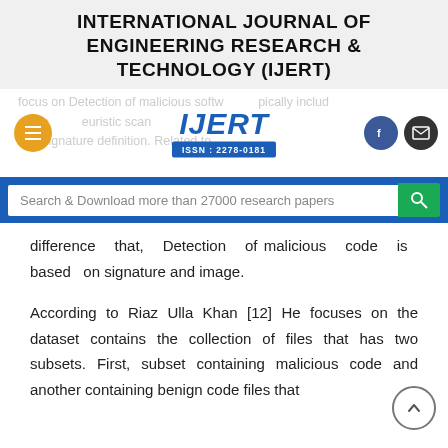INTERNATIONAL JOURNAL OF ENGINEERING RESEARCH & TECHNOLOGY (IJERT)
[Figure (logo): IJERT logo with hamburger menu, Facebook and email icons, and ISSN: 2278-0181]
[Figure (screenshot): Search bar with text: Search & Download more than 27000 research papers]
difference that, Detection of malicious code is based on signature and image.
According to Riaz Ulla Khan [12] He focuses on the dataset contains the collection of files that has two subsets. First, subset containing malicious code and another containing benign code files that